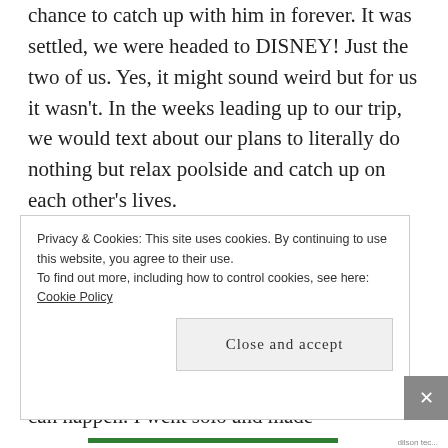chance to catch up with him in forever. It was settled, we were headed to DISNEY! Just the two of us. Yes, it might sound weird but for us it wasn't. In the weeks leading up to our trip, we would text about our plans to literally do nothing but relax poolside and catch up on each other's lives.

Just days before we were to leave, he called and backed out. He was vague, but there was something happening in his personal life that he had to handle. I understood, having an entire life of my own I know how these things can happen. I went solo and made
Privacy & Cookies: This site uses cookies. By continuing to use this website, you agree to their use.
To find out more, including how to control cookies, see here: Cookie Policy
Close and accept